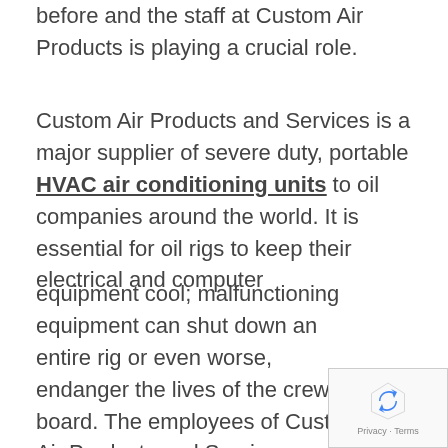before and the staff at Custom Air Products is playing a crucial role.
Custom Air Products and Services is a major supplier of severe duty, portable HVAC air conditioning units to oil companies around the world. It is essential for oil rigs to keep their electrical and computer
equipment cool; malfunctioning equipment can shut down an entire rig or even worse, endanger the lives of the crew on board. The employees of Custom Air Products and Services custom design, construct, install